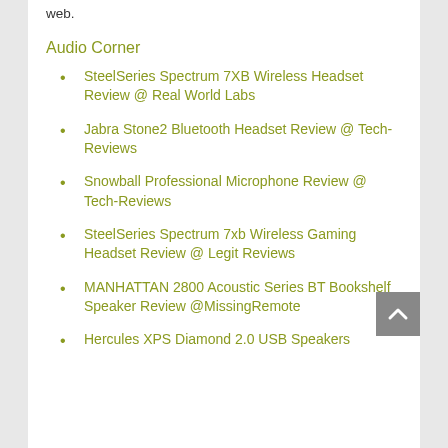web.
Audio Corner
SteelSeries Spectrum 7XB Wireless Headset Review @ Real World Labs
Jabra Stone2 Bluetooth Headset Review @ Tech-Reviews
Snowball Professional Microphone Review @ Tech-Reviews
SteelSeries Spectrum 7xb Wireless Gaming Headset Review @ Legit Reviews
MANHATTAN 2800 Acoustic Series BT Bookshelf Speaker Review @MissingRemote
Hercules XPS Diamond 2.0 USB Speakers